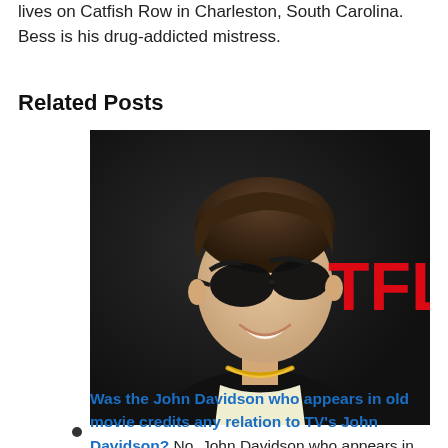lives on Catfish Row in Charleston, South Carolina. Bess is his drug-addicted mistress.
Related Posts
[Figure (photo): Photo of a young man wearing black sunglasses and a black jacket with a gold chain necklace, smiling, in front of a Netflix logo backdrop.]
Was the John Davidson who appears in old movie credits any relation to TV's John Davidson? No, John Davidson who appears in old movie